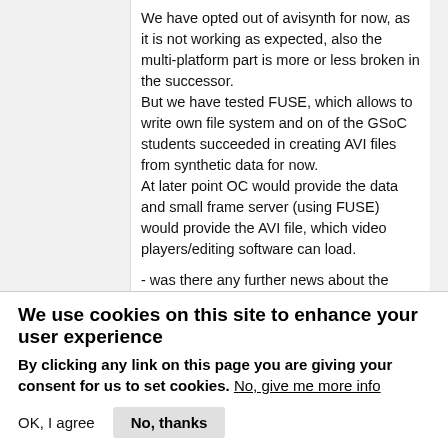We have opted out of avisynth for now, as it is not working as expected, also the multi-platform part is more or less broken in the successor.
But we have tested FUSE, which allows to write own file system and on of the GSoC students succeeded in creating AVI files from synthetic data for now.
At later point OC would provide the data and small frame server (using FUSE) would provide the AVI file, which video players/editing software can load.
- was there any further news about the Semantic Image Segmentation with DeepLab in TensorFlow?
Unfortunately nobody picked up the task yet:
https://lab.apertus.org/T987
We use cookies on this site to enhance your user experience
By clicking any link on this page you are giving your consent for us to set cookies. No, give me more info
OK, I agree   No, thanks